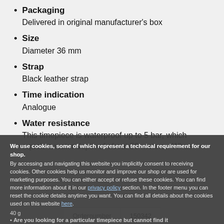Packaging
Delivered in original manufacturer's box
Size
Diameter 36 mm
Strap
Black leather strap
Time indication
Analogue
Water resistance
This timepiece is waterproof up to 5 bar, which equals a water depth of about 50 meters. What
40 g
Are you looking for a particular timepiece but cannot find it
We can help! Don't
Contact
We use cookies, some of which represent a technical requirement for our shop. By accessing and navigating this website you implicitly consent to receiving cookies. Other cookies help us monitor and improve our shop or are used for marketing purposes. You can either accept or refuse these cookies. You can find more information about it in our privacy policy section. In the footer menu you can reset the cookie details anytime you want. You can find all details about the cookies used on this website here.
| Ordernumber | 150342 |
| --- | --- |